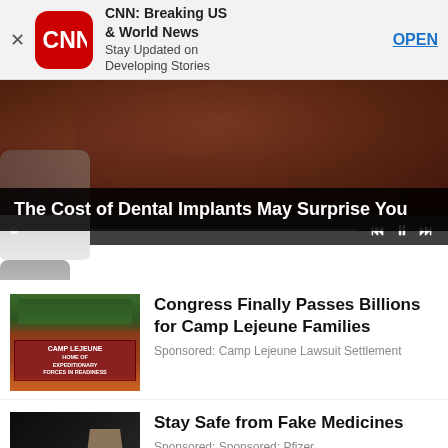[Figure (screenshot): CNN app advertisement banner with CNN logo, title 'CNN: Breaking US & World News', subtitle 'Stay Updated on Developing Stories', and OPEN button]
[Figure (photo): Close-up photo of dental implants/teeth with video player controls and progress bar overlay]
The Cost of Dental Implants May Surprise You
[Figure (photo): Camp Lejeune sign photo - brick sign reading CAMP LEJEUNE HOME OF EXPEDITIONARY FORCES IN READINESS]
Congress Finally Passes Billions for Camp Lejeune Families
Sponsored: Camp Lejeune Lawsuit Settlement
[Figure (photo): Dark background with hand holding medicine/pill]
Stay Safe from Fake Medicines
Sponsored: Sponsored: Pfizer